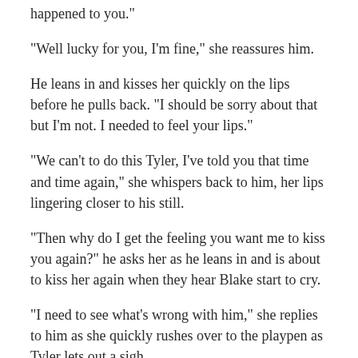happened to you."
"Well lucky for you, I'm fine," she reassures him.
He leans in and kisses her quickly on the lips before he pulls back. "I should be sorry about that but I'm not. I needed to feel your lips."
"We can't to do this Tyler, I've told you that time and time again," she whispers back to him, her lips lingering closer to his still.
"Then why do I get the feeling you want me to kiss you again?" he asks her as he leans in and is about to kiss her again when they hear Blake start to cry.
"I need to see what's wrong with him," she replies to him as she quickly rushes over to the playpen as Tyler lets out a sigh.
Scene Six - The Pampa Grill